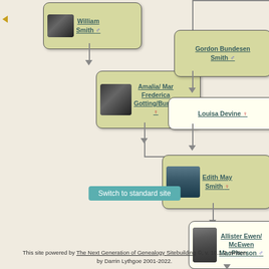[Figure (organizational-chart): Family tree genealogy chart showing: William Smith (male), Amalia/Mar Frederica Gotting/Bunde (female), Gordon Bundesen Smith (male), Louisa Devine (female), Edith May Smith (female), Allister Ewen/McEwen MacPherson (male). Connected with vertical and horizontal connector lines and directional arrows. Each person card has a thumbnail photo.]
Switch to standard site
This site powered by The Next Generation of Genealogy Sitebuilding ©, v. 10.1.2, written by Darrin Lythgoe 2001-2022.